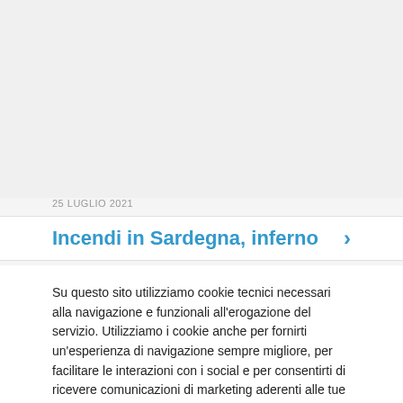25 LUGLIO 2021
Incendi in Sardegna, inferno
Su questo sito utilizziamo cookie tecnici necessari alla navigazione e funzionali all'erogazione del servizio. Utilizziamo i cookie anche per fornirti un'esperienza di navigazione sempre migliore, per facilitare le interazioni con i social e per consentirti di ricevere comunicazioni di marketing aderenti alle tue abitudini di navigazione e ai tuoi interessi. Puoi esprimere il tuo consenso cliccando su "ACCETTA TUTTI" oppure puoi scegliere le tue preferenze cliccando su "IMPOSTAZIONI COOKIES ".
Impostazione Cookies | ACCETTA | Rifiuta